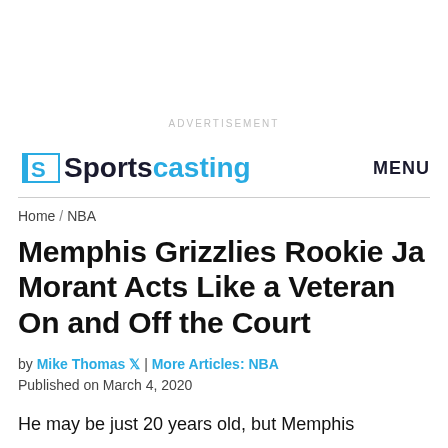ADVERTISEMENT
Sportscasting  MENU
Home / NBA
Memphis Grizzlies Rookie Ja Morant Acts Like a Veteran On and Off the Court
by Mike Thomas 🐦 | More Articles: NBA
Published on March 4, 2020
He may be just 20 years old, but Memphis